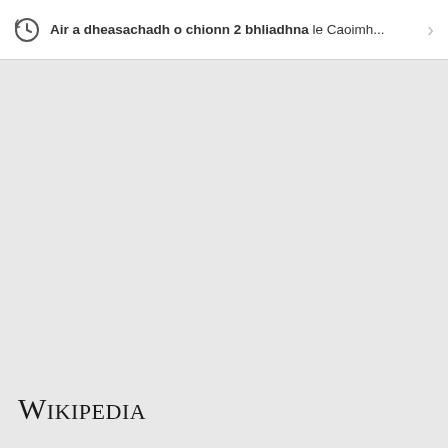Air a dheasachadh o chionn 2 bhliadhna le Caoimh...
[Figure (logo): Wikipedia wordmark logo in serif font at bottom left]